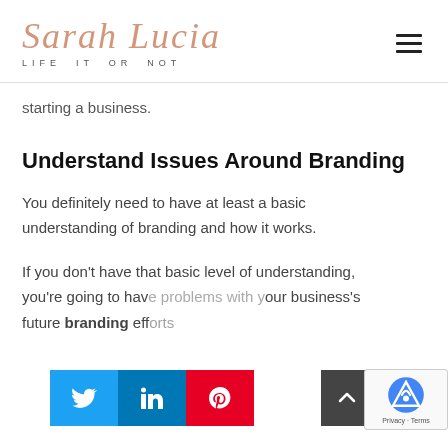Sarah Lucia — LIFE IT OR NOT
starting a business.
Understand Issues Around Branding
You definitely need to have at least a basic understanding of branding and how it works.
If you don't have that basic level of understanding, you're going to have problems with your business's future branding eff…